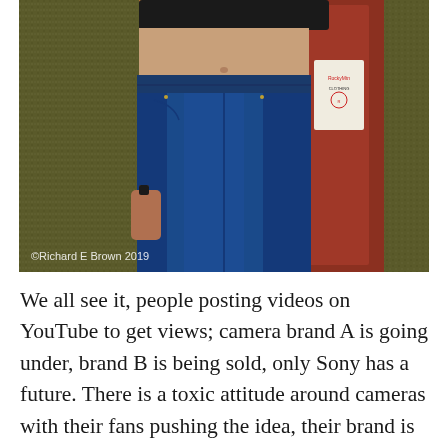[Figure (photo): A woman wearing blue jeans and a black bra, open olive/dark green tweed cardigan, with a reddish-brown jacket lining visible on the right. Brick wall in background. Watermark reads '©Richard E Brown 2019'.]
©Richard E Brown 2019
We all see it, people posting videos on YouTube to get views; camera brand A is going under, brand B is being sold, only Sony has a future. There is a toxic attitude around cameras with their fans pushing the idea, their brand is the only one.